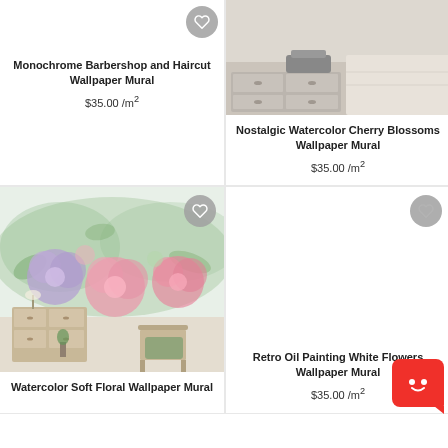[Figure (photo): Monochrome Barbershop wallpaper product card - no image loaded, white area with heart icon]
Monochrome Barbershop and Haircut Wallpaper Mural
$35.00 /m²
[Figure (photo): Nostalgic Watercolor Cherry Blossoms wallpaper mural - bedroom scene with sewing machine on dresser]
Nostalgic Watercolor Cherry Blossoms Wallpaper Mural
$35.00 /m²
[Figure (photo): Watercolor soft floral wallpaper mural - room with dresser and chair, pink and purple flowers]
Watercolor Soft Floral Wallpaper Mural
[Figure (photo): Retro Oil Painting White Flowers wallpaper mural - no image loaded, white area with heart icon]
Retro Oil Painting White Flowers Wallpaper Mural
$35.00 /m²